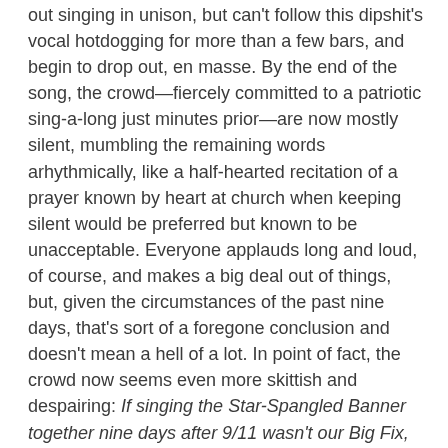out singing in unison, but can't follow this dipshit's vocal hotdogging for more than a few bars, and begin to drop out, en masse. By the end of the song, the crowd—fiercely committed to a patriotic sing-a-long just minutes prior—are now mostly silent, mumbling the remaining words arhythmically, like a half-hearted recitation of a prayer known by heart at church when keeping silent would be preferred but known to be unacceptable. Everyone applauds long and loud, of course, and makes a big deal out of things, but, given the circumstances of the past nine days, that's sort of a foregone conclusion and doesn't mean a hell of a lot. In point of fact, the crowd now seems even more skittish and despairing: If singing the Star-Spangled Banner together nine days after 9/11 wasn't our Big Fix, what WILL be? Will anything? Jesus, Mary and Joseph, how fucked are we???
No bombs, planes, or toxic effusions of Joker Jelly interfere with the game before Chuck Knoblauch steps to the plate for the Yankees, facing off against Kip Wells on the mound for the Sox. The Neckless Wonders have done their job: I have officially Seen The Yankees. Kip Wells sends Knoblauch down swinging, and repeats the process on